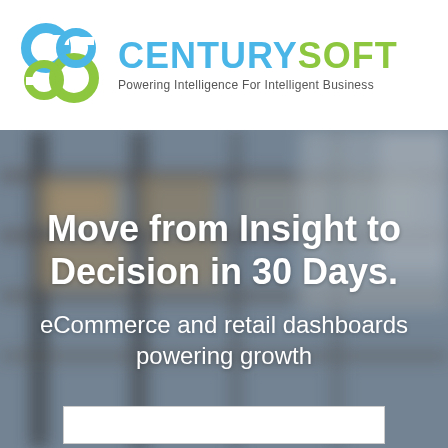[Figure (logo): CenturySoft logo with two interlocking C shapes in blue and green, company name in blue (CENTURY) and green (SOFT), tagline: Powering Intelligence For Intelligent Business]
[Figure (photo): Blurred warehouse/retail shelving background with boxes, overlaid with white text reading 'Move from Insight to Decision in 30 Days.' and 'eCommerce and retail dashboards powering growth']
Move from Insight to Decision in 30 Days.
eCommerce and retail dashboards powering growth